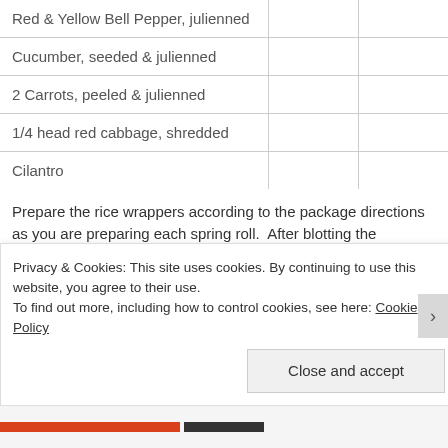| Ingredient | Amount |  |
| --- | --- | --- |
| Red & Yellow Bell Pepper, julienned |  |  |
| Cucumber, seeded & julienned |  |  |
| 2 Carrots, peeled & julienned |  |  |
| 1/4 head red cabbage, shredded |  |  |
| Cilantro |  |  |
Prepare the rice wrappers according to the package directions as you are preparing each spring roll.  After blotting the wrapper, add 3-5 leaves of spinach (depending on the size of each leaf just above the bottom third of the wrapper.  Build on top of the spinach with the cilantro, shredded cabbage, peppers, carrots, & cucumber.  Pull the bottom third of the wrapper up and over the
Privacy & Cookies: This site uses cookies. By continuing to use this website, you agree to their use.
To find out more, including how to control cookies, see here: Cookie Policy
Close and accept